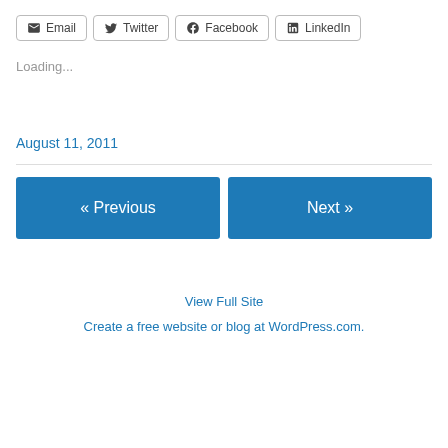Email  Twitter  Facebook  LinkedIn
Loading...
August 11, 2011
« Previous
Next »
View Full Site
Create a free website or blog at WordPress.com.